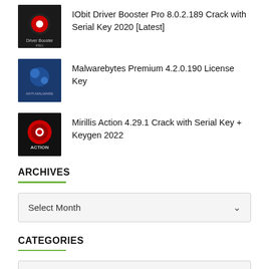IObit Driver Booster Pro 8.0.2.189 Crack with Serial Key 2020 [Latest]
Malwarebytes Premium 4.2.0.190 License Key
Mirillis Action 4.29.1 Crack with Serial Key + Keygen 2022
ARCHIVES
Select Month
CATEGORIES
Select Category